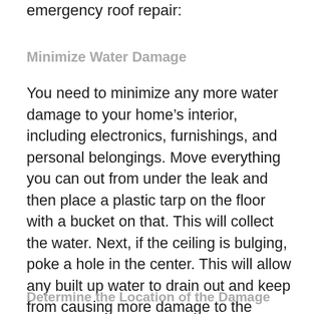emergency roof repair:
Minimize Water Damage
You need to minimize any more water damage to your home’s interior, including electronics, furnishings, and personal belongings. Move everything you can out from under the leak and then place a plastic tarp on the floor with a bucket on that. This will collect the water. Next, if the ceiling is bulging, poke a hole in the center. This will allow any built up water to drain out and keep from causing more damage to the ceiling.
Determine the Location of the Damage